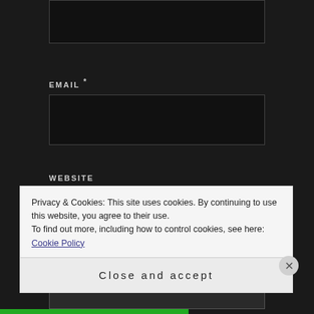[Figure (screenshot): Top portion of a web comment form input box (partially visible at top of page)]
EMAIL *
[Figure (screenshot): Email input field (dark background, empty text box)]
WEBSITE
[Figure (screenshot): Website input field (dark background, empty text box)]
POST COMMENT
Privacy & Cookies: This site uses cookies. By continuing to use this website, you agree to their use.
To find out more, including how to control cookies, see here: Cookie Policy
Close and accept